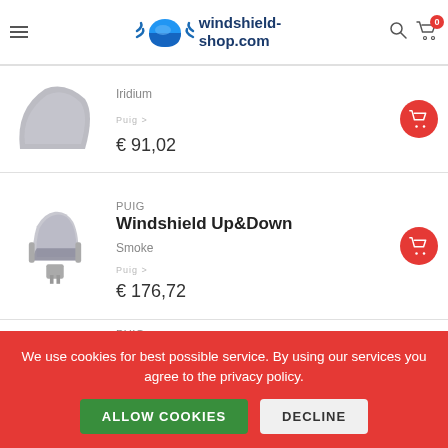windshield-shop.com
Iridium
€ 91,02
PUIG
Windshield Up&Down
Smoke
€ 176,72
PUIG
We use cookies for best possible service. By using our services you agree to the privacy policy.